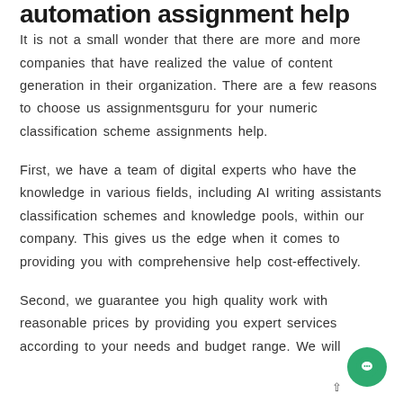automation assignment help
It is not a small wonder that there are more and more companies that have realized the value of content generation in their organization. There are a few reasons to choose us assignmentsguru for your numeric classification scheme assignments help.
First, we have a team of digital experts who have the knowledge in various fields, including AI writing assistants classification schemes and knowledge pools, within our company. This gives us the edge when it comes to providing you with comprehensive help cost-effectively.
Second, we guarantee you high quality work with reasonable prices by providing you expert services according to your needs and budget range. We will